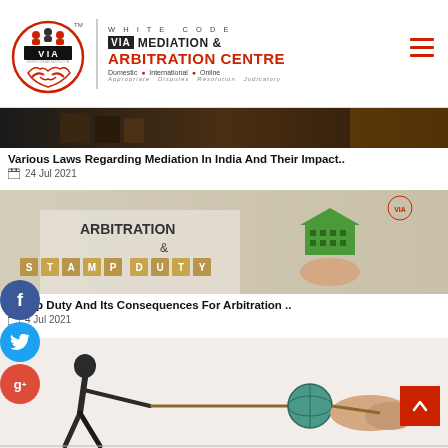[Figure (logo): White Code VIA Mediation & Arbitration Centre logo with circular VIA emblem, text, and navigation hamburger menu]
[Figure (photo): Dark brown toned image of legal books/documents - partial view at top of first article card]
Various Laws Regarding Mediation In India And Their Impact..
📅 24 Jul 2021
[Figure (photo): Image showing 'ARBITRATION &' text with green house and 'STAMP DUTY' wooden letter blocks]
Stamp Duty And Its Consequences For Arbitration ..
📅 4 Jul 2021
[Figure (illustration): Illustration of tug of war between two people over a globe - partial view at bottom]